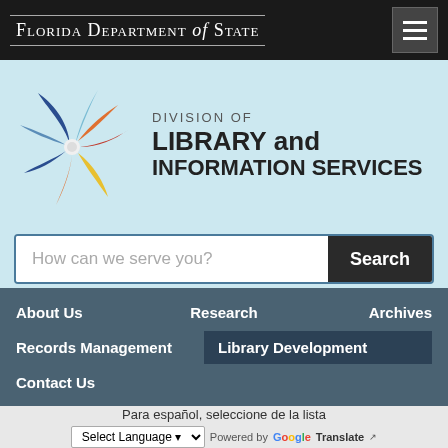Florida Department of State
[Figure (logo): Division of Library and Information Services logo with colorful pinwheel/book icon]
How can we serve you? Search
About Us
Research
Archives
Records Management
Library Development
Contact Us
Para español, seleccione de la lista
Select Language ▾   Powered by Google Translate ↗